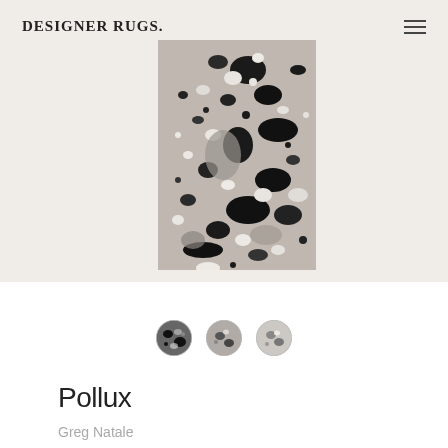DESIGNER RUGS.
[Figure (photo): Abstract paint-splatter rug design in black, white and grey tones on a light grey background, shown as a rectangular flat-lay product image]
[Figure (photo): Three circular thumbnail swatches of the rug in different colorways: dark/black, medium grey, and light grey]
Pollux
Greg Natale